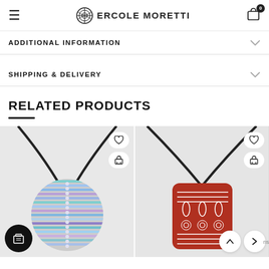Ercole Moretti
ADDITIONAL INFORMATION
SHIPPING & DELIVERY
RELATED PRODUCTS
[Figure (photo): Murano glass circular pendant necklace with blue and purple horizontal stripe pattern on black cord]
[Figure (photo): Murano glass rectangular pendant necklace with red base and white line and circle pattern on black cord]